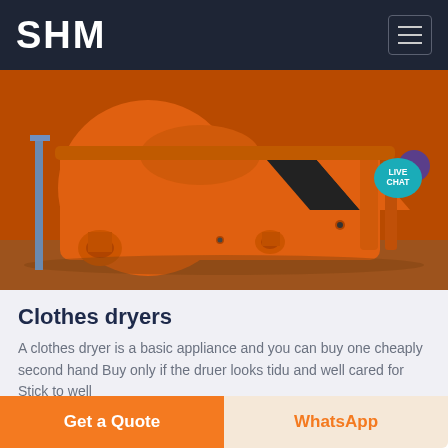SHM
[Figure (photo): Large orange industrial machine (dryer/rotary equipment) photographed in a factory or yard setting. A teal 'LIVE CHAT' speech bubble badge overlays the top-right corner of the image.]
Clothes dryers
A clothes dryer is a basic appliance and you can buy one cheaply second hand Buy only if the druer looks tidu and well cared for Stick to well
Get a Quote
WhatsApp